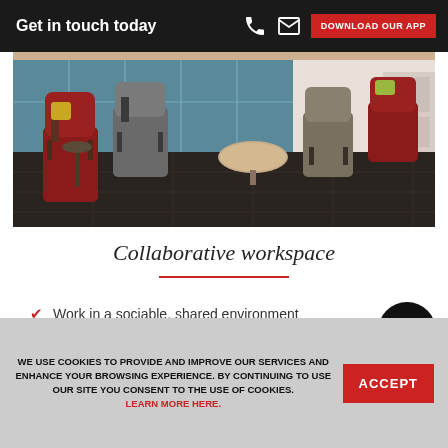Get in touch today | DOWNLOAD OUR APP
[Figure (photo): Modern collaborative office lounge with red and grey chairs, round tables, dark wood floor, and large windows with city view]
Collaborative workspace
Work in a sociable, shared environment
Ideal for businesses looking to network
WE USE COOKIES TO PROVIDE AND IMPROVE OUR SERVICES AND ENHANCE YOUR BROWSING EXPERIENCE. BY CONTINUING TO USE OUR SITE YOU CONSENT TO THE USE OF COOKIES. LEARN MORE HERE.